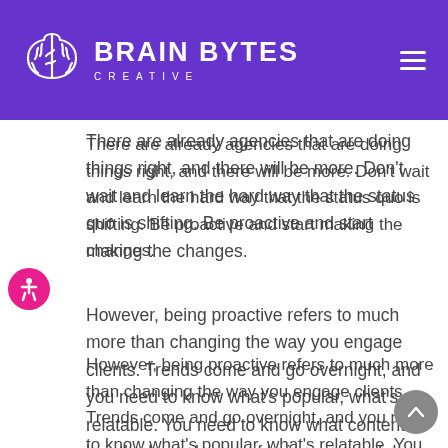[Figure (logo): Brain Bytes Creative logo with brain icon on purple header bar with hamburger menu icon]
There are already agencies that are doing things right, and there will be more. Don't wait and learn the hard way that the status quo is shifting. Be proactive and start making the changes.
However, being proactive refers to much more than changing the way you engage clients. Trends come and go overnight, and you need to know what's popular, what's relatable. You need to know what content has the best chance of being successful.
Content is a moving target. At the same time, it's deeply ingrained in our society. Whatever your clients are trying to sell, you need to push them